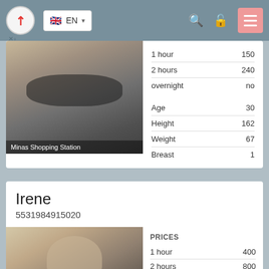EN navigation bar with logo, language selector, search, lock, and menu icons
[Figure (photo): Blonde woman wearing large dark sunglasses sitting in a car. Caption: Minas Shopping Station]
| 1 hour | 150 |
| 2 hours | 240 |
| overnight | no |
| Age | 30 |
| Height | 162 |
| Weight | 67 |
| Breast | 1 |
Irene
5531984915020
[Figure (photo): Blonde woman with long straight hair in an indoor setting]
| PRICES |  |
| --- | --- |
| 1 hour | 400 |
| 2 hours | 800 |
| overnight | no |